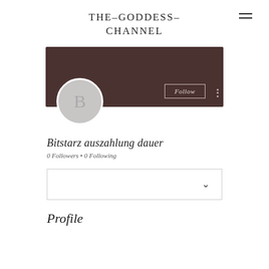THE-GODDESS-CHANNEL
[Figure (screenshot): Profile page screenshot showing a dark brown banner, circular avatar with letter B, Follow button, three-dot menu, username 'Bitstarz auszahlung dauer', 0 Followers, 0 Following, a dropdown box with chevron, and a Profile section header.]
Bitstarz auszahlung dauer
0 Followers • 0 Following
Profile